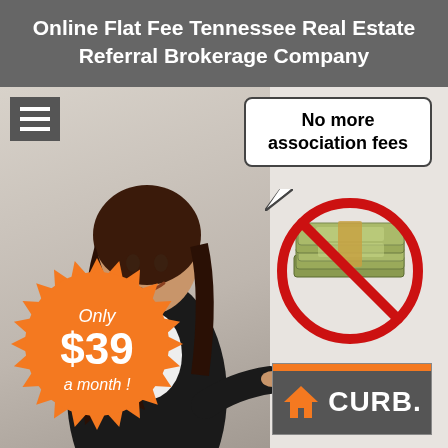Online Flat Fee Tennessee Real Estate Referral Brokerage Company
[Figure (infographic): Promotional infographic for CURB real estate brokerage showing a woman peeking around a wall with a speech bubble saying 'No more association fees', a no-money prohibited sign, an orange starburst badge saying 'Only $39 a month!', and the CURB brand logo.]
Tennessee's Premier